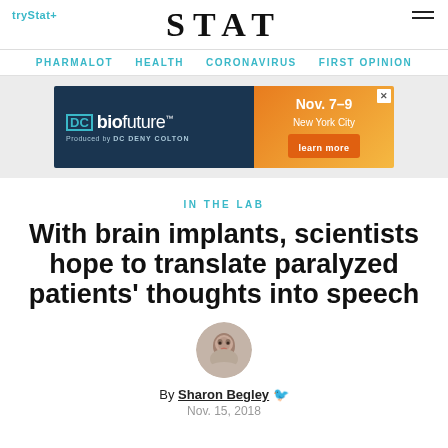tryStat+ STAT
PHARMALOT   HEALTH   CORONAVIRUS   FIRST OPINION
[Figure (infographic): Advertisement for biofuture conference, Nov. 7-9, New York City, produced by DC Deny Colton, with learn more button]
IN THE LAB
With brain implants, scientists hope to translate paralyzed patients' thoughts into speech
[Figure (photo): Round headshot photo of Sharon Begley]
By Sharon Begley 🐦
Nov. 15, 2018